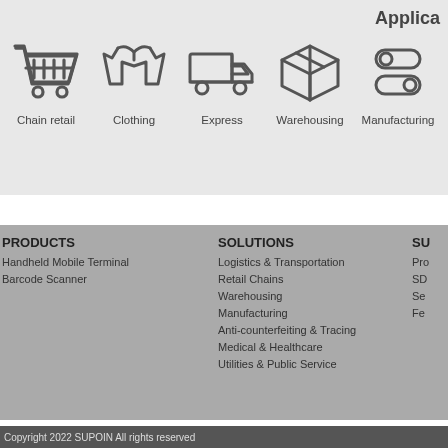Applica
[Figure (infographic): Row of industry icons with labels: Chain retail (shopping cart), Clothing (polo shirt), Express (delivery truck), Warehousing (box), Manufacturing (toggle switches)]
PRODUCTS
Handheld Mobile Terminal
Barcode Scanner
SOLUTIONS
Logistics & Transportation
Retail Chains
Warehousing
Manufacturing
Anti-counterfeiting & Tracing
Medical & Healthcare
Utilities & Public Service
SU
Pro
SD
Se
Fe
Copyright 2022 SUPOIN All rights reserved